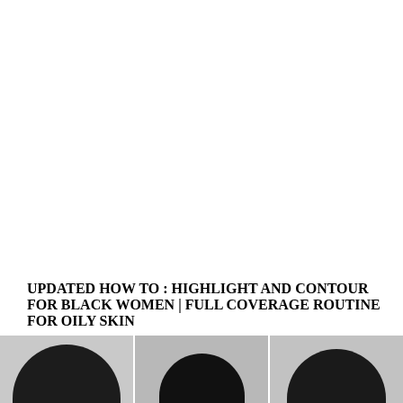UPDATED HOW TO : HIGHLIGHT AND CONTOUR FOR BLACK WOMEN | FULL COVERAGE ROUTINE FOR OILY SKIN
[Figure (photo): Three partially visible photos at the bottom of the page showing dark-skinned women, cropped to show only the tops of their heads/faces, arranged side by side.]